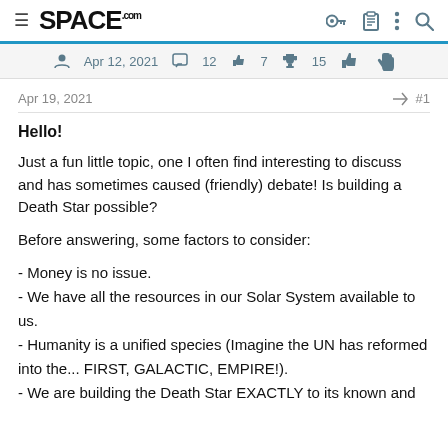SPACE.com — navigation bar with hamburger menu, logo, and icons (key, clipboard, dots, search)
Apr 12, 2021  12  7  15
Apr 19, 2021  #1
Hello!
Just a fun little topic, one I often find interesting to discuss and has sometimes caused (friendly) debate! Is building a Death Star possible?
Before answering, some factors to consider:
- Money is no issue.
- We have all the resources in our Solar System available to us.
- Humanity is a unified species (Imagine the UN has reformed into the... FIRST, GALACTIC, EMPIRE!).
- We are building the Death Star EXACTLY to its known and